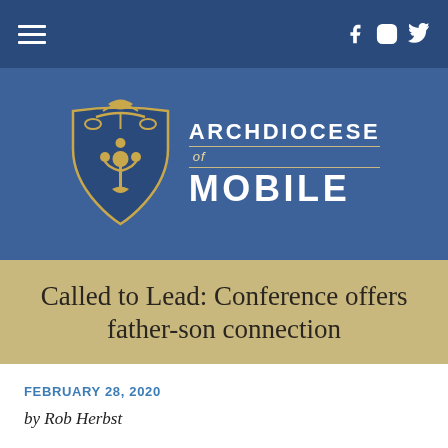Archdiocese of Mobile — navigation bar with hamburger menu and social icons (Facebook, Instagram, Twitter)
[Figure (logo): Archdiocese of Mobile crest shield logo (blue and gold) with text ARCHDIOCESE of MOBILE in white on blue background]
Called to Lead: Conference offers father-son connection
FEBRUARY 28, 2020
by Rob Herbst